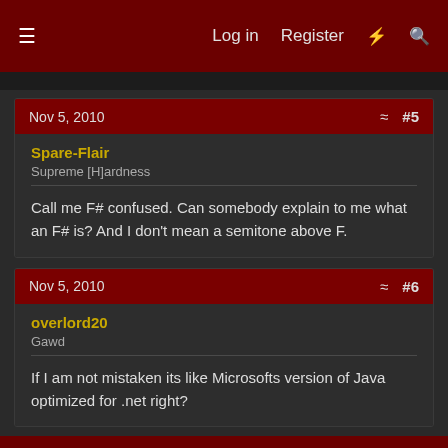Log in  Register
Nov 5, 2010  #5
Spare-Flair
Supreme [H]ardness
Call me F# confused. Can somebody explain to me what an F# is? And I don't mean a semitone above F.
Nov 5, 2010  #6
overlord20
Gawd
If I am not mistaken its like Microsofts version of Java optimized for .net right?